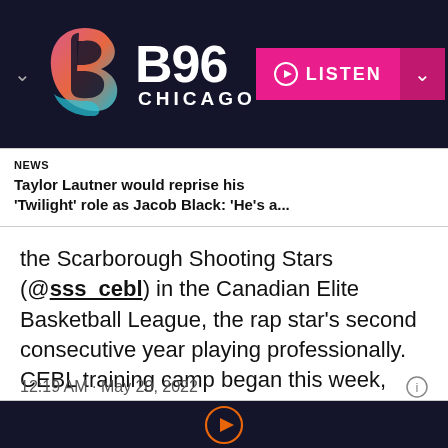[Figure (logo): B96 Chicago radio station logo with colorful abstract B shape and white B96 CHICAGO text, with pink LISTEN button and chevron]
NEWS
Taylor Lautner would reprise his 'Twilight' role as Jacob Black: 'He's a...
the Scarborough Shooting Stars (@sss_cebl) in the Canadian Elite Basketball League, the rap star's second consecutive year playing professionally. CEBL training camp began this week, with season opener on May 26.
12:19 AM · May 20, 2022
[Figure (other): Orange outlined play button circle icon on dark navy background]